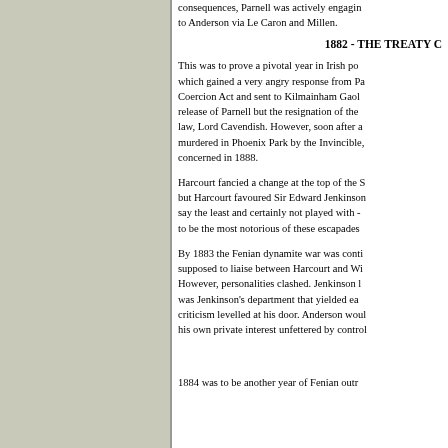consequences, Parnell was actively engaging to Anderson via Le Caron and Millen.
1882 - THE TREATY C
This was to prove a pivotal year in Irish po which gained a very angry response from Pa Coercion Act and sent to Kilmainham Gaol release of Parnell but the resignation of the law, Lord Cavendish. However, soon after a murdered in Phoenix Park by the Invincible, concerned in 1888.
Harcourt fancied a change at the top of the S but Harcourt favoured Sir Edward Jenkinson say the least and certainly not played with - to be the most notorious of these escapades
By 1883 the Fenian dynamite war was conti supposed to liaise between Harcourt and Wi However, personalities clashed. Jenkinson l was Jenkinson's department that yielded ea criticism levelled at his door. Anderson woul his own private interest unfettered by control
1884 was to be another year of Fenian outr